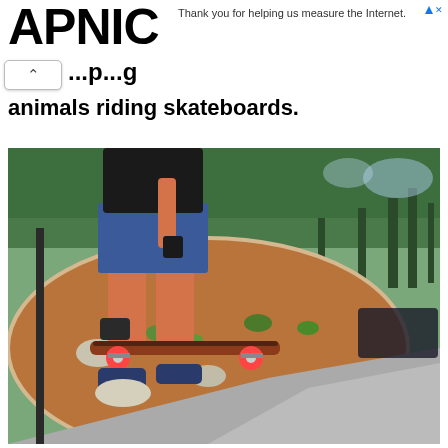APNIC
Thank you for helping us measure the Internet.
animals riding skateboards.
[Figure (photo): Person on a skateboard doing a trick, with red/brown mulch circular garden in background, trees in background, road/pavement visible at bottom right.]